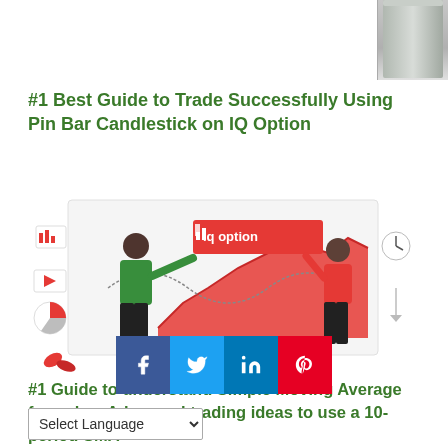[Figure (illustration): Vertical cylindrical/bar graphic in top right corner, gray gradient]
#1 Best Guide to Trade Successfully Using Pin Bar Candlestick on IQ Option
[Figure (illustration): IQ Option trading platform illustration with two people, charts, pie chart, and IQ option logo on a whiteboard]
#1 Guide to understand Simple Moving Average formula + Advanced trading ideas to use a 10-period SMA
[Figure (illustration): Partial rainbow illustration with festive green hat character at bottom]
[Figure (infographic): Social share buttons: Facebook (f), Twitter bird, LinkedIn (in), Pinterest (P)]
Select Language